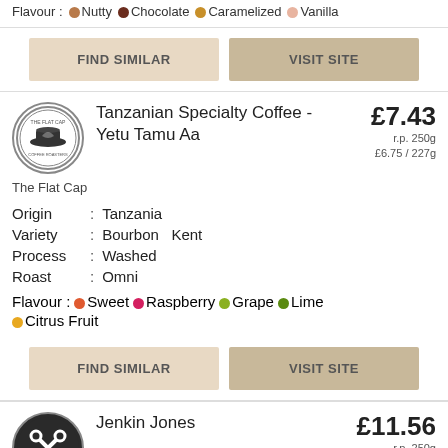Flavour : Nutty Chocolate Caramelized Vanilla
FIND SIMILAR
VISIT SITE
[Figure (logo): The Flat Cap Coffee roasters circular logo]
Tanzanian Specialty Coffee - Yetu Tamu Aa
£7.43
r.p. 250g
£6.75 / 227g
The Flat Cap
Origin : Tanzania
Variety : Bourbon Kent
Process : Washed
Roast : Omni
Flavour : Sweet Raspberry Grape Lime
Citrus Fruit
FIND SIMILAR
VISIT SITE
[Figure (logo): Jenkin Jones dark circular logo with crossed tools]
Jenkin Jones
£11.56
r.p. 250g
£10.50 / 227g
Specialty Coffee